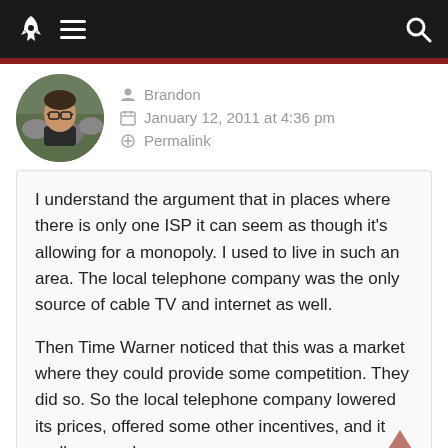Navigation bar with rocket logo, hamburger menu, and search icon
Brandon
January 12, 2011 at 4:36 pm
Permalink
I understand the argument that in places where there is only one ISP it can seem as though it's allowing for a monopoly. I used to live in such an area. The local telephone company was the only source of cable TV and internet as well.

Then Time Warner noticed that this was a market where they could provide some competition. They did so. So the local telephone company lowered its prices, offered some other incentives, and it really came down